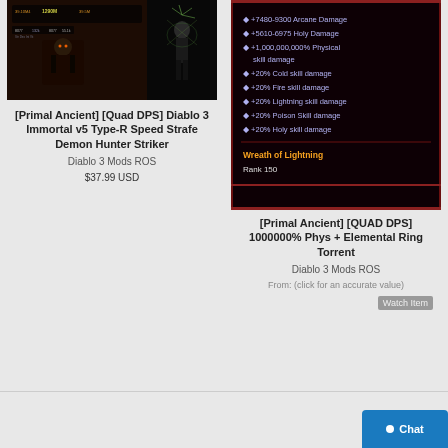[Figure (screenshot): Diablo 3 Demon Hunter character screenshot showing dark background with character in boots]
[Figure (screenshot): Diablo 3 item tooltip showing ring stats: +7480-9300 Arcane Damage, +5610-6975 Holy Damage, +1,000,000,000% Physical skill damage, +20% Cold skill damage, +20% Fire skill damage, +20% Lightning skill damage, +20% Poison Skill damage, +20% Holy skill damage, Wreath of Lightning, Rank 150]
[Primal Ancient] [Quad DPS] Diablo 3 Immortal v5 Type-R Speed Strafe Demon Hunter Striker
Diablo 3 Mods ROS
$37.99 USD
[Primal Ancient] [QUAD DPS] 1000000% Phys + Elemental Ring Torrent
Diablo 3 Mods ROS
From: (click for an accurate value)
Watch Item